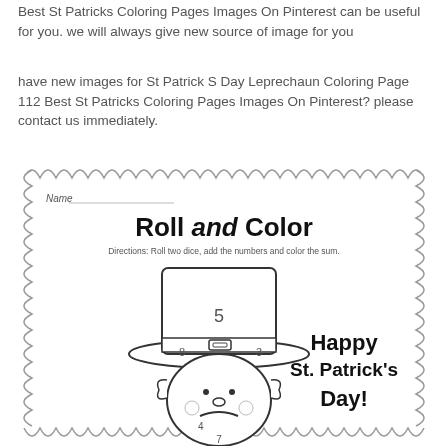Best St Patricks Coloring Pages Images On Pinterest can be useful for you. we will always give new source of image for you
have new images for St Patrick S Day Leprechaun Coloring Page 112 Best St Patricks Coloring Pages Images On Pinterest? please contact us immediately.
[Figure (illustration): A coloring page worksheet titled 'Roll and Color' with a leprechaun wearing a top hat. The hat has number 5 on it, and the brim has numbers 8 and 3. The leprechaun face has number 4. Text reads 'Happy St. Patrick's Day!' on the right side. Directions say: Roll two dice, add the numbers and color the sum. The worksheet has a decorative scalloped border.]